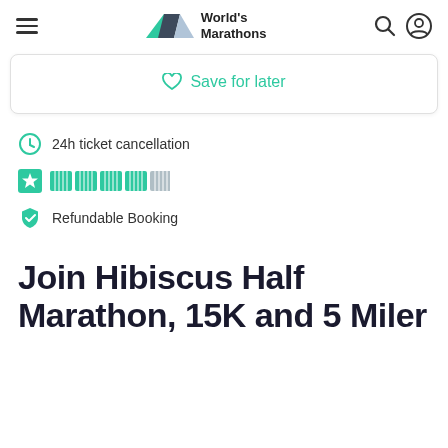World's Marathons
Save for later
24h ticket cancellation
[Figure (logo): Trustpilot star rating logo with bar segments]
Refundable Booking
Join Hibiscus Half Marathon, 15K and 5 Miler